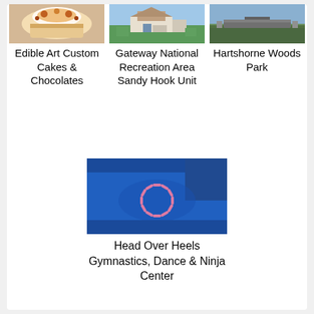[Figure (photo): Photo of decorated cake or baked goods from Edible Art Custom Cakes & Chocolates]
Edible Art Custom Cakes & Chocolates
[Figure (photo): Photo of a house and green lawn at Gateway National Recreation Area Sandy Hook Unit]
Gateway National Recreation Area Sandy Hook Unit
[Figure (photo): Photo of a bridge or park structure at Hartshorne Woods Park]
Hartshorne Woods Park
[Figure (photo): Photo of gymnasts on a blue mat floor at Head Over Heels Gymnastics, Dance & Ninja Center]
Head Over Heels Gymnastics, Dance & Ninja Center